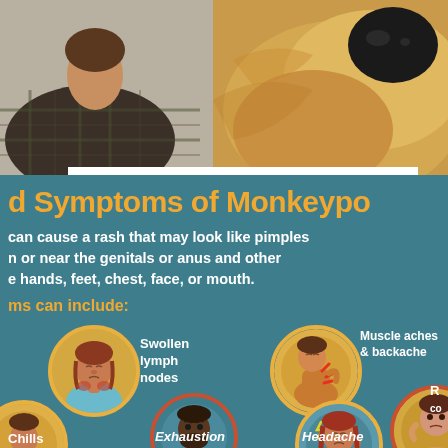[Figure (photo): Photo showing a person in a plaid shirt on the left and a golden retriever dog close-up on the right, set against a light background]
d Symptoms of Monkeypo
can cause a rash that may look like pimples n or near the genitals or anus and other e hands, feet, chest, face, or mouth.
ms can include:
[Figure (infographic): Medical infographic on teal background showing symptoms of Monkeypox with illustrated circular icons: Swollen lymph nodes (woman with swollen neck), Muscle aches & backache (person holding back), Chills (partial icon), Exhaustion (man in yellow hoodie looking down), Headache (woman holding head), and R/Fever (partially visible icon at right edge)]